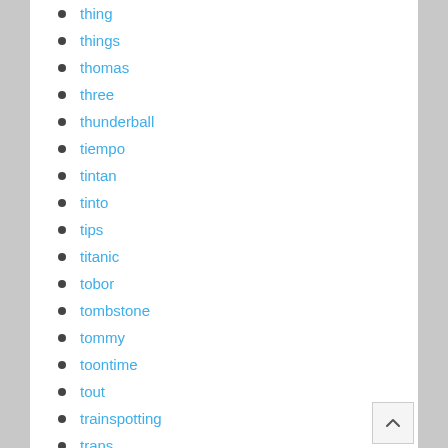thing
things
thomas
three
thunderball
tiempo
tintan
tinto
tips
titanic
tobor
tombstone
tommy
toontime
tout
trainspotting
trans
transformers